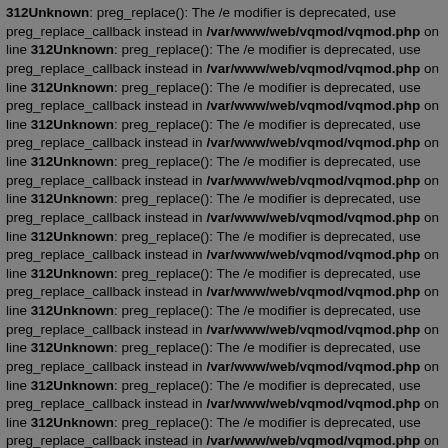312Unknown: preg_replace(): The /e modifier is deprecated, use preg_replace_callback instead in /var/www/web/vqmod/vqmod.php on line 312Unknown: preg_replace(): The /e modifier is deprecated, use preg_replace_callback instead in /var/www/web/vqmod/vqmod.php on line 312Unknown: preg_replace(): The /e modifier is deprecated, use preg_replace_callback instead in /var/www/web/vqmod/vqmod.php on line 312Unknown: preg_replace(): The /e modifier is deprecated, use preg_replace_callback instead in /var/www/web/vqmod/vqmod.php on line 312Unknown: preg_replace(): The /e modifier is deprecated, use preg_replace_callback instead in /var/www/web/vqmod/vqmod.php on line 312Unknown: preg_replace(): The /e modifier is deprecated, use preg_replace_callback instead in /var/www/web/vqmod/vqmod.php on line 312Unknown: preg_replace(): The /e modifier is deprecated, use preg_replace_callback instead in /var/www/web/vqmod/vqmod.php on line 312Unknown: preg_replace(): The /e modifier is deprecated, use preg_replace_callback instead in /var/www/web/vqmod/vqmod.php on line 312Unknown: preg_replace(): The /e modifier is deprecated, use preg_replace_callback instead in /var/www/web/vqmod/vqmod.php on line 312Unknown: preg_replace(): The /e modifier is deprecated, use preg_replace_callback instead in /var/www/web/vqmod/vqmod.php on line 312Unknown: preg_replace(): The /e modifier is deprecated, use preg_replace_callback instead in /var/www/web/vqmod/vqmod.php on line 312Unknown: preg_replace(): The /e modifier is deprecated, use preg_replace_callback instead in /var/www/web/vqmod/vqmod.php on line 312Unknown: preg_replace(): The /e modifier is deprecated, use preg_replace_callback instead in /var/www/web/vqmod/vqmod.php on line 312Unknown: preg_replace(): The /e modifier is deprecated, use preg_replace_callback instead in /var/www/web/vqmod/vqmod.php on line 312Unknown: preg_replace(): The /e modifier is deprecated, use preg_replace_callback instead in /var/www/web/vqmod/vqmod.php on line 312Unknown: preg_replace(): The /e modifier is deprecated, use preg_replace_callback instead in /var/www/web/vqmod/vqmod.php on line